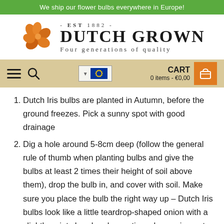We ship our flower bulbs everywhere in Europe!
[Figure (logo): Dutch Grown logo with orange flower graphic, EST 1882, and tagline Four generations of quality]
[Figure (infographic): Navigation bar with hamburger menu, search icon, EU flag language selector, and cart showing 0 items - €0,00]
Dutch Iris bulbs are planted in Autumn, before the ground freezes. Pick a sunny spot with good drainage
Dig a hole around 5-8cm deep (follow the general rule of thumb when planting bulbs and give the bulbs at least 2 times their height of soil above them), drop the bulb in, and cover with soil. Make sure you place the bulb the right way up – Dutch Iris bulbs look like a little teardrop-shaped onion with a slightly pointy head and sometimes have wiry roots growing out of the underside - plant with the pointy head / spike pointing up.
Leave approximately 10cm between each bulb. If you are